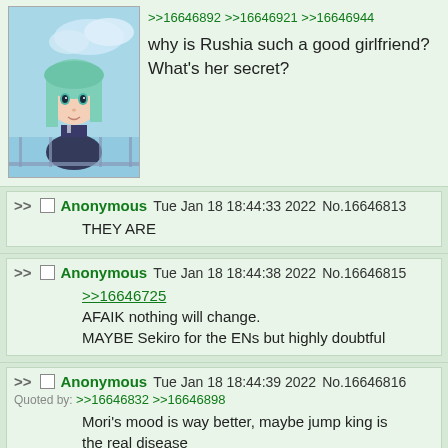[Figure (screenshot): Imageboard thread screenshot showing anime girl avatar post with references >>16646892 >>16646921 >>16646944 and question about Rushia]
>>16646892 >>16646921 >>16646944
why is Rushia such a good girlfriend? What's her secret?
>> Anonymous Tue Jan 18 18:44:33 2022 No.16646813
THEY ARE
>> Anonymous Tue Jan 18 18:44:38 2022 No.16646815
>>16646725
AFAIK nothing will change.
MAYBE Sekiro for the ENs but highly doubtful
>> Anonymous Tue Jan 18 18:44:39 2022 No.16646816
Quoted by: >>16646832 >>16646898
Mori's mood is way better, maybe jump king is the real disease
>> Anonymous Tue Jan 18 18:44:45 2022 No.16646819
Quoted by: >>16646857 >>16646858 >>16646881 >>16646908 >>16646940